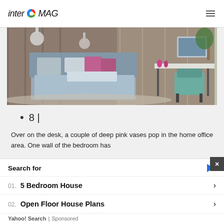interO MAG
[Figure (photo): Modern bedroom interior with grey upholstered bed, pink accent pillows, a desk area with teal chair and pink vases, wood paneling and glass wardrobe in background]
8 |
Over on the desk, a couple of deep pink vases pop in the home office area. One wall of the bedroom has
Search for
01. 5 Bedroom House
02. Open Floor House Plans
Yahoo! Search | Sponsored